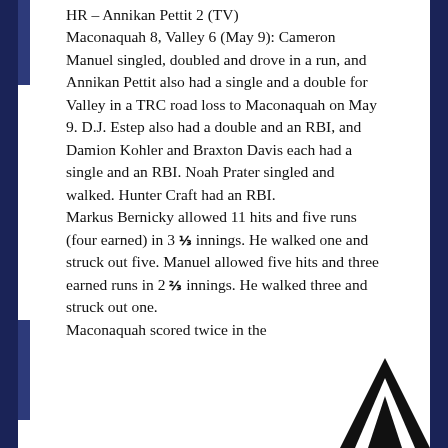HR – Annikan Pettit 2 (TV)
Maconaquah 8, Valley 6 (May 9): Cameron Manuel singled, doubled and drove in a run, and Annikan Pettit also had a single and a double for Valley in a TRC road loss to Maconaquah on May 9. D.J. Estep also had a double and an RBI, and Damion Kohler and Braxton Davis each had a single and an RBI. Noah Prater singled and walked. Hunter Craft had an RBI.
Markus Bernicky allowed 11 hits and five runs (four earned) in 3 ⅓ innings. He walked one and struck out five. Manuel allowed five hits and three earned runs in 2 ⅔ innings. He walked three and struck out one.
Maconaquah scored twice in the